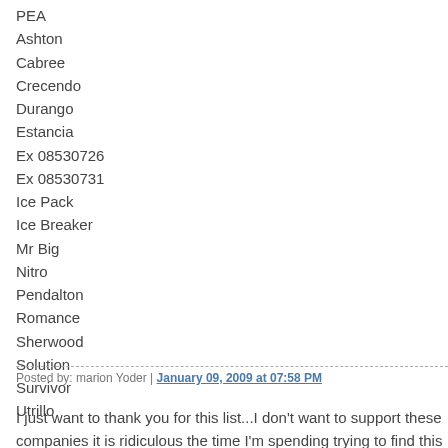PEA
Ashton
Cabree
Crecendo
Durango
Estancia
Ex 08530726
Ex 08530731
Ice Pack
Ice Breaker
Mr Big
Nitro
Pendalton
Romance
Sherwood
Solution
Survivor
Utrillo
Posted by: marion Yoder | January 09, 2009 at 07:58 PM
I just want to thank you for this list...I don't want to support these companies it is ridiculous the time I'm spending trying to find this stuff out!